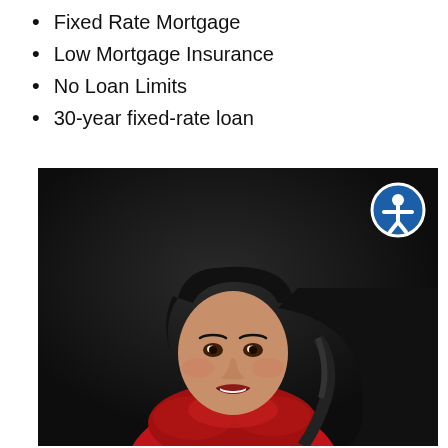Fixed Rate Mortgage
Low Mortgage Insurance
No Loan Limits
30-year fixed-rate loan
[Figure (photo): Professional headshot of a woman with long dark hair, wearing a red outfit with feathered trim, smiling against a dark background. An accessibility icon (white figure in circle with blue border) appears in the upper right corner of the photo.]